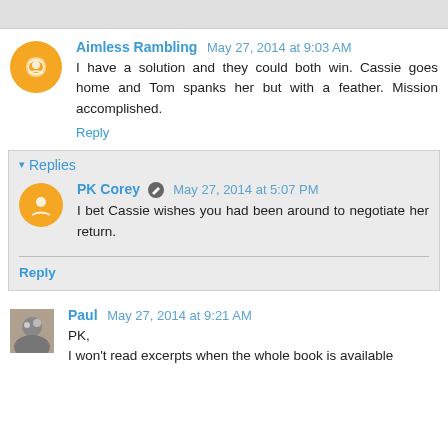Aimless Rambling  May 27, 2014 at 9:03 AM
I have a solution and they could both win. Cassie goes home and Tom spanks her but with a feather. Mission accomplished.
Reply
Replies
PK Corey  May 27, 2014 at 5:07 PM
I bet Cassie wishes you had been around to negotiate her return.
Reply
Paul  May 27, 2014 at 9:21 AM
PK,
I won't read excerpts when the whole book is available